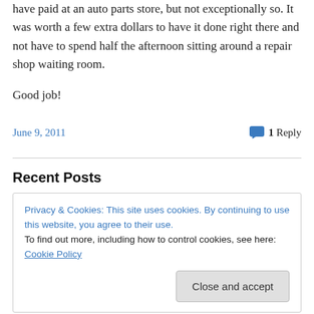have paid at an auto parts store, but not exceptionally so. It was worth a few extra dollars to have it done right there and not have to spend half the afternoon sitting around a repair shop waiting room.
Good job!
June 9, 2011
1 Reply
Recent Posts
Privacy & Cookies: This site uses cookies. By continuing to use this website, you agree to their use.
To find out more, including how to control cookies, see here: Cookie Policy
Close and accept